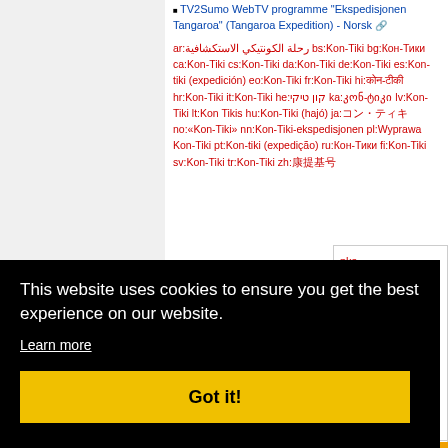TV2Sumo WebTV programme "Ekspedisjonen Tangaroa" (Tangaroa Expedition) - Norsk [external link]
ar:رحلة الكونتيكي الاستكشافية bs:Kon-Tiki bg:Кон-Тики ca:Kon-Tiki cs:Kon-Tiki da:Kon-Tiki de:Kon-Tiki es:Kon-tiki (expedición) eo:Kon-Tiki fr:Kon-Tiki hi:कोन-टीकी hr:Kon-Tiki it:Kon-Tiki he:קון טיקי ka:კონ-ტიკი lv:Kon-Tiki lt:Kon Tikis hu:Kon-Tiki (hajó) ja:コン・ティキ no:«Kon-Tiki» nn:Kon-Tiki-ekspedisjonen pl:Wyprawa Kon-Tiki pt:Kon-tiki (expedição) ru:Кон-Тики fi:Kon-Tiki sv:Kon-Tiki tr:Kon-Tiki zh:康提基号
nks
ct
eums
ions
This website uses cookies to ensure you get the best experience on our website.
Learn more
Got it!
[Figure (logo): Powered By MediaWiki logo]
mers